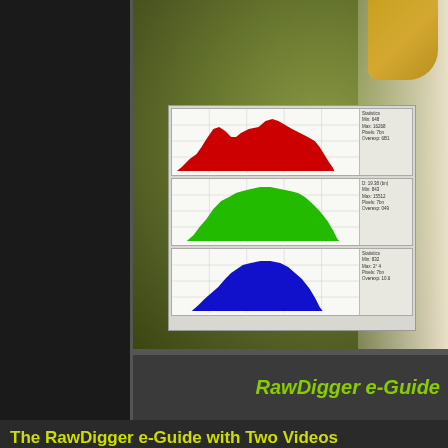[Figure (photo): Bird (egret/heron) photo with olive-green blurred background, white feathers on right side, yellow beak at top right. In the foreground is a RawDigger software screenshot showing three RGB histogram panels (red, green, blue channels).]
[Figure (screenshot): RawDigger software histogram showing three channel histograms stacked vertically: red channel (top), green channel (middle), blue channel (bottom). Each panel shows the pixel distribution with filled colored areas and statistics panel on the right.]
RawDigger e-Guide
The RawDigger e-Guide with Two Videos
by Arthur Morris with Patrick Sparkman
The RawDigger e-Guide was created only for serious photogr... raw files.